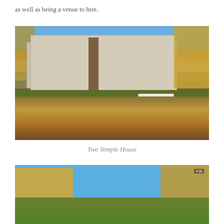as well as being a venue to hire.
[Figure (photo): Exterior photograph of Two Temple House, a grand stone building surrounded by autumn trees with golden/orange leaves. A white van is parked in front. The foreground shows a garden with fallen autumn leaves and iron railings. Blue sky visible above.]
Two Temple House
[Figure (photo): Partial photograph showing blue sky and autumn trees with golden foliage, cropped at the bottom of the page.]